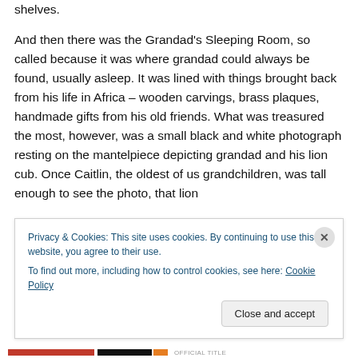shelves.
And then there was the Grandad's Sleeping Room, so called because it was where grandad could always be found, usually asleep. It was lined with things brought back from his life in Africa – wooden carvings, brass plaques, handmade gifts from his old friends. What was treasured the most, however, was a small black and white photograph resting on the mantelpiece depicting grandad and his lion cub. Once Caitlin, the oldest of us grandchildren, was tall enough to see the photo, that lion cub became a central feature in all of our play-pretend
Privacy & Cookies: This site uses cookies. By continuing to use this website, you agree to their use.
To find out more, including how to control cookies, see here: Cookie Policy